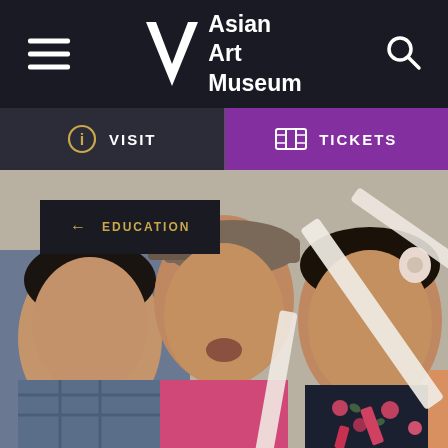[Figure (logo): Asian Art Museum logo with stylized V mark and text 'Asian Art Museum' in white on dark background, with hamburger menu icon on left and search icon on right]
VISIT
TICKETS
← EDUCATION
[Figure (photo): Three children looking upward in wonder at an art museum. A boy in a plaid shirt on the left, a child in a pink hoodie and cap in the center looking up, and a girl in a dark floral dress with a pink headband on the right. A white sculptural element is in the foreground.]